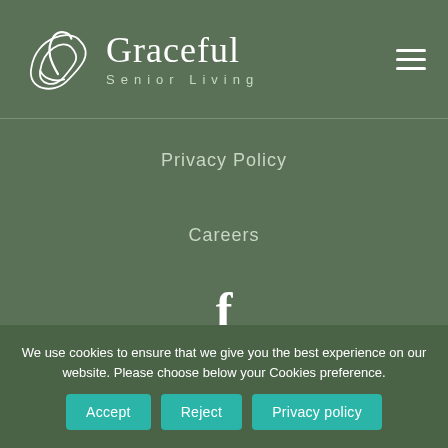[Figure (logo): Graceful Senior Living logo with swan/leaf SVG icon and text]
Privacy Policy
Careers
[Figure (illustration): Facebook icon (letter f)]
[Figure (illustration): Back to top arrow button (dark green box with up arrow)]
We use cookies to ensure that we give you the best experience on our website. Please choose below your Cookies preference.
Accept
Reject
Privacy policy